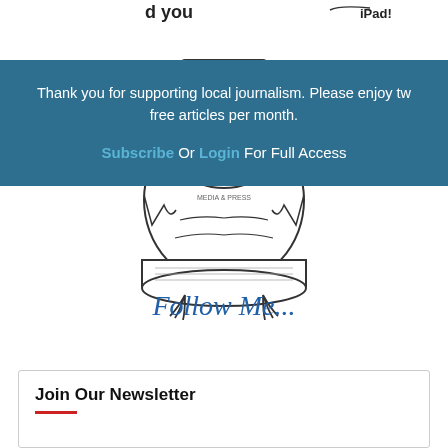[Figure (illustration): Cartoon owl mascot wearing a PRESS hat holding a newspaper, with partial text 'd you' and 'iPad!' visible at the top, and 'Follow Me...' text in blue below the owl illustration]
Thank you for supporting local journalism. Please enjoy two free articles per month.
Subscribe Or Login For Full Access
Join Our Newsletter